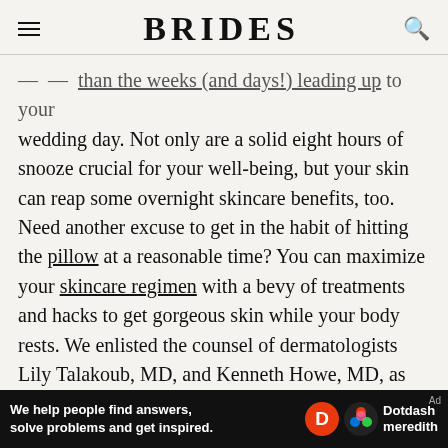BRIDES
— than the weeks (and days!) leading up to your wedding day. Not only are a solid eight hours of snooze crucial for your well-being, but your skin can reap some overnight skincare benefits, too. Need another excuse to get in the habit of hitting the pillow at a reasonable time? You can maximize your skincare regimen with a bevy of treatments and hacks to get gorgeous skin while your body rests. We enlisted the counsel of dermatologists Lily Talakoub, MD, and Kenneth Howe, MD, as well as celebrity facialist Joanna Vargas to get the secrets on banishing pesky breakouts, fine lines, and wrinkles and achieving smooth and radiant skin.
[Figure (infographic): Dotdash Meredith advertisement banner: 'We help people find answers, solve problems and get inspired.']